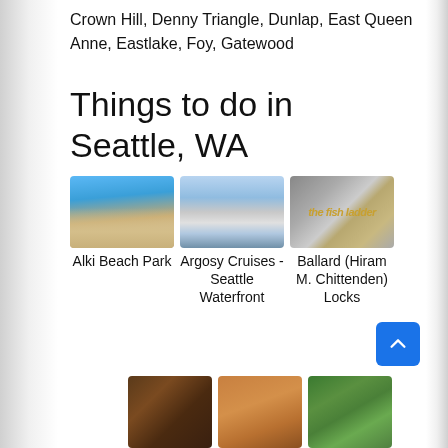Crown Hill, Denny Triangle, Dunlap, East Queen Anne, Eastlake, Foy, Gatewood
Things to do in Seattle, WA
[Figure (photo): Three attraction cards: Alki Beach Park (beach photo), Argosy Cruises - Seattle Waterfront (skyline photo), Ballard (Hiram M. Chittenden) Locks (sign photo)]
[Figure (photo): Three more attraction thumbnail photos at bottom of page]